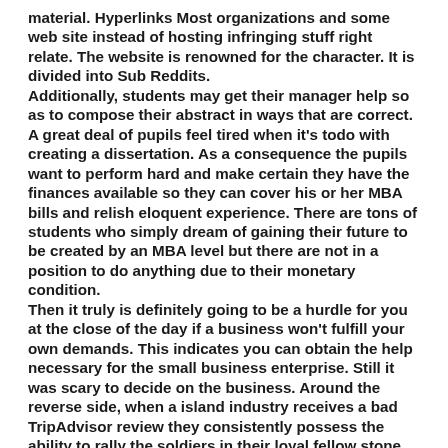material. Hyperlinks Most organizations and some web site instead of hosting infringing stuff right relate. The website is renowned for the character. It is divided into Sub Reddits. Additionally, students may get their manager help so as to compose their abstract in ways that are correct. A great deal of pupils feel tired when it's todo with creating a dissertation. As a consequence the pupils want to perform hard and make certain they have the finances available so they can cover his or her MBA bills and relish eloquent experience. There are tons of students who simply dream of gaining their future to be created by an MBA level but there are not in a position to do anything due to their monetary condition. Then it truly is definitely going to be a hurdle for you at the close of the day if a business won't fulfill your own demands. This indicates you can obtain the help necessary for the small business enterprise. Still it was scary to decide on the business. Around the reverse side, when a island industry receives a bad TripAdvisor review they consistently possess the ability to rally the soldiers in their loyal fellow stone